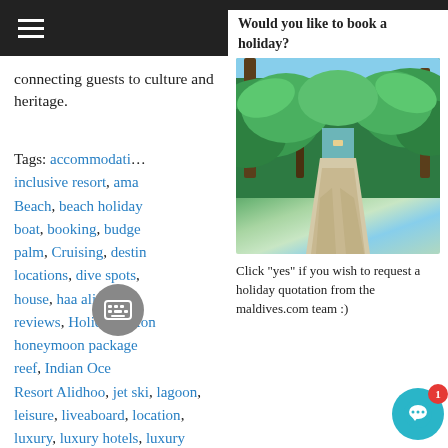≡ (hamburger menu)
connecting guests to culture and heritage.
Tags: accommodation, inclusive resort, ama, Beach, beach holiday, boat, booking, budge, palm, Cruising, destin, locations, dive spots, house, haa alifu atoll, reviews, Holidays, Hor, honeymoon package, reef, Indian Ocean, Resort Alidhoo, jet ski, lagoon, leisure, liveaboard, location, luxury, luxury hotels, luxury villas, maldive islands, Maldives, maldives accommodation, maldives ho, maldives honeymoon, Maldives Hotels, maldives is, maldives photos, maldives picture, maldives resorts,
Would you like to book a holiday?
[Figure (photo): Tropical pathway lined with green palm trees and lush vegetation leading to a beach, with blue sky visible in the background.]
Click "yes" if you wish to request a holiday quotation from the maldives.com team :)